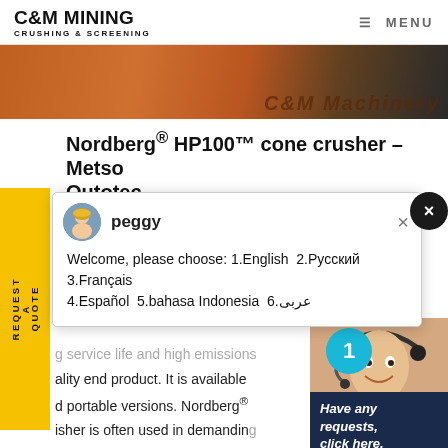[Figure (logo): C&M Mining Crushing & Screening logo]
Nordberg® HP100™ cone crusher - Metso Outotec
[Figure (photo): C&M Machinery branded equipment photo with orange/brown machinery and black surface]
[Figure (screenshot): Chat popup with agent named peggy showing language selection options]
Welcome, please choose: 1.English  2.Русский 3.Français  4.Español  5.bahasa Indonesia  6.عربى
g service life and high emissions ality end product. It is available d portable versions. Nordberg® isher is often used in demanding perations and aggregates productions. Optimized performance. Revolutionary combination of ...
[Figure (screenshot): Chat widget on right side with agent photo, number badge 1, Have any requests click here, and Quotation button]